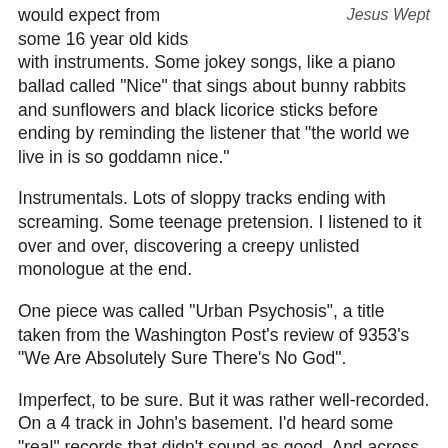Jesus Wept
would expect from some 16 year old kids with instruments. Some jokey songs, like a piano ballad called "Nice" that sings about bunny rabbits and sunflowers and black licorice sticks before ending by reminding the listener that "the world we live in is so goddamn nice."
Instrumentals. Lots of sloppy tracks ending with screaming. Some teenage pretension. I listened to it over and over, discovering a creepy unlisted monologue at the end.
One piece was called "Urban Psychosis", a title taken from the Washington Post's review of 9353's "We Are Absolutely Sure There's No God".
Imperfect, to be sure. But it was rather well-recorded. On a 4 track in John's basement. I'd heard some "real" records that didn't sound as good. And across its various tracks, it captured something about what it was like to be us. Maybe these kids hadn't quite got hold of something yet, but they were obviously getting close.